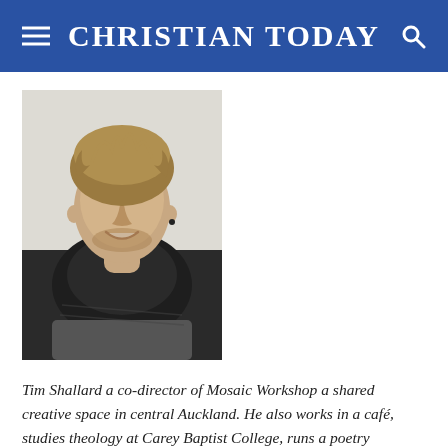CHRISTIAN TODAY
[Figure (photo): Headshot of Tim Shallard, a young man with short blond hair, wearing a dark turtleneck scarf. He is smiling at the camera against a light background.]
Tim Shallard a co-director of Mosaic Workshop a shared creative space in central Auckland. He also works in a café, studies theology at Carey Baptist College, runs a poetry collective. His passions include coffee, community, and